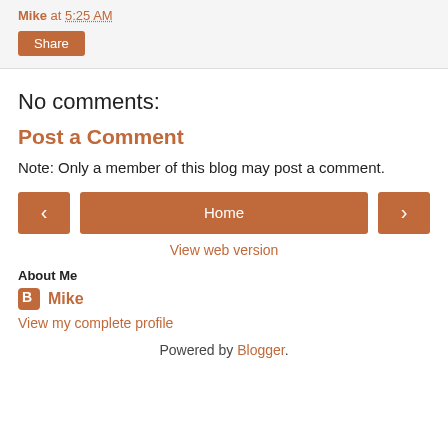Mike at 5:25 AM
Share
No comments:
Post a Comment
Note: Only a member of this blog may post a comment.
‹  Home  ›
View web version
About Me
Mike
View my complete profile
Powered by Blogger.